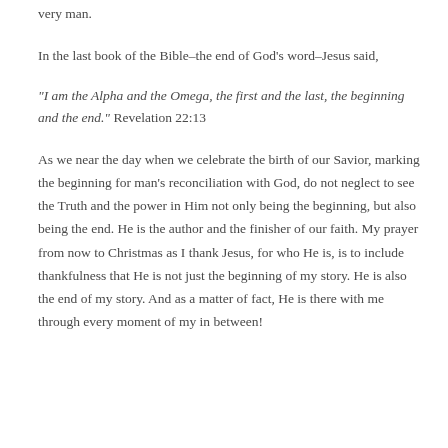very man.
In the last book of the Bible–the end of God's word–Jesus said,
“I am the Alpha and the Omega, the first and the last, the beginning and the end.” Revelation 22:13
As we near the day when we celebrate the birth of our Savior, marking the beginning for man’s reconciliation with God, do not neglect to see the Truth and the power in Him not only being the beginning, but also being the end. He is the author and the finisher of our faith. My prayer from now to Christmas as I thank Jesus, for who He is, is to include thankfulness that He is not just the beginning of my story. He is also the end of my story. And as a matter of fact, He is there with me through every moment of my in between!